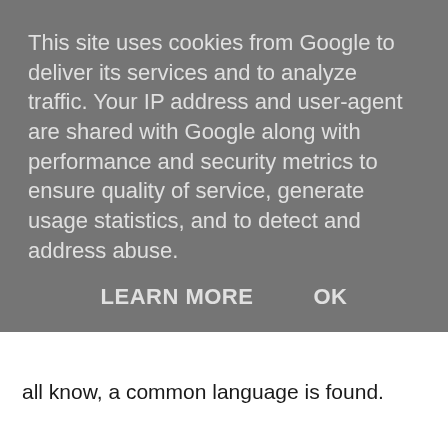This site uses cookies from Google to deliver its services and to analyze traffic. Your IP address and user-agent are shared with Google along with performance and security metrics to ensure quality of service, generate usage statistics, and to detect and address abuse.
LEARN MORE   OK
all know, a common language is found.
You can talk about what you have encountered, or talk about each other's interests and hobbies. Make yourself more meaningful and have a topic to talk about. There are many specific operations. As long as you leave the dormitory, don't stay at home. You can read books, watch movies, watch scenery, and even go shopping. When you receive information, you will naturally transform it. As for the improvement of expression, you rely on understanding and practice. When you are more embarrassed, you will naturally know what won't be embarrassed. In short, you should move. In fact, such a character is difficult to change, but as